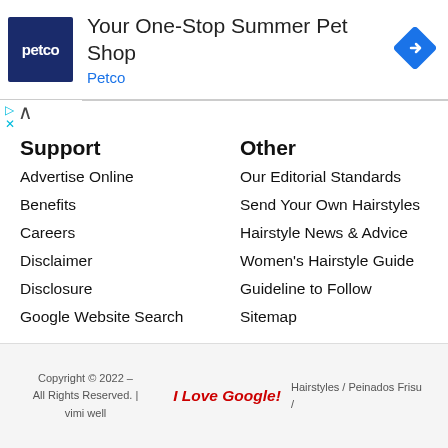[Figure (infographic): Petco advertisement banner: Petco logo (white text on dark blue square), heading 'Your One-Stop Summer Pet Shop', subheading 'Petco' in blue, and a blue diamond navigation icon on the right.]
Support
Other
Advertise Online
Benefits
Careers
Disclaimer
Disclosure
Google Website Search
Our Editorial Standards
Send Your Own Hairstyles
Hairstyle News & Advice
Women's Hairstyle Guide
Guideline to Follow
Sitemap
Copyright © 2022 – All Rights Reserved. | vimi well    I Love Google!    Hairstyles / Peinados Frisu /